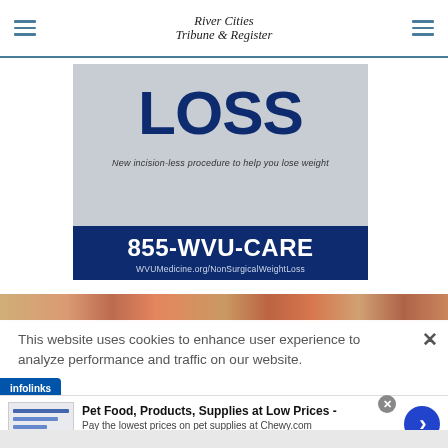River Cities Tribune & Register
[Figure (illustration): WVU Medicine weight loss advertisement showing bold 'LOSS' text on silver/gray background with tagline 'New incision-less procedure to help you lose weight' and blue bottom bar with phone number 855-WVU-CARE and URL WVUMedicine.org/NonSurgicalWeightLoss]
[Figure (photo): Colorful food image strip across the page]
This website uses cookies to enhance user experience to analyze performance and traffic on our website.
[Figure (logo): Infolinks badge/logo in blue]
[Figure (illustration): Chewy.com advertisement: Pet Food, Products, Supplies at Low Prices - Pay the lowest prices on pet supplies at Chewy.com with navigation arrow button]